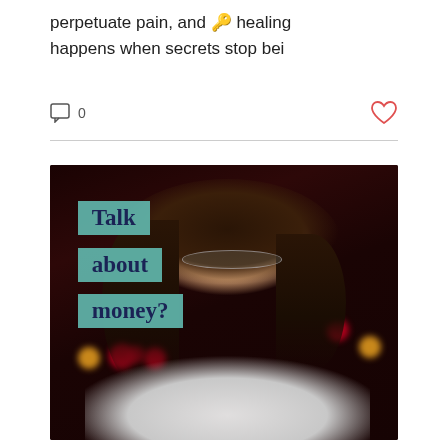perpetuate pain, and 🔑 healing happens when secrets stop bei
0
[Figure (photo): A smiling woman with glasses and dark hair wearing a white shirt, photographed against a dark bokeh background with colorful lights. Overlaid text boxes in teal read 'Talk about money?']